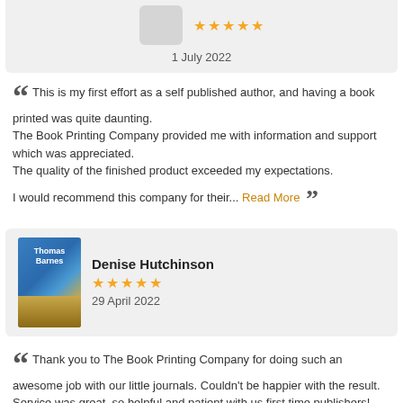[Figure (other): Top reviewer card fragment showing avatar placeholder, 5 yellow stars, and date '1 July 2022']
This is my first effort as a self published author, and having a book printed was quite daunting.
The Book Printing Company provided me with information and support which was appreciated.
The quality of the finished product exceeded my expectations.
I would recommend this company for their... Read More
[Figure (other): Reviewer card for Denise Hutchinson showing book cover with 'Thomas Barnes', reviewer name, 5 yellow stars, date 29 April 2022]
Thank you to The Book Printing Company for doing such an awesome job with our little journals. Couldn't be happier with the result. Service was great, so helpful and patient with us first time publishers!
Looking forward to the next books.